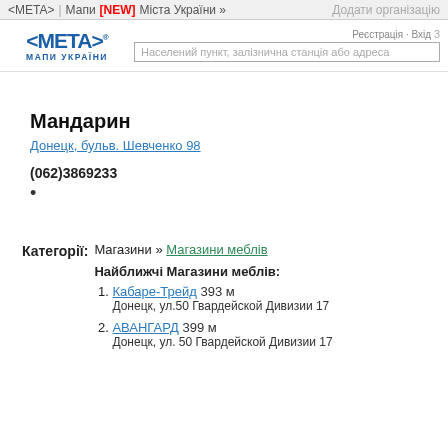<META> | Мапи [NEW] Міста України » Додати організацію
[Figure (logo): META Maps of Ukraine logo with blue angled brackets and text МАПИ УКРАЇНИ]
Населений пункт, залізнична станція або адреса
Мандарин
Донецк, бульв. Шевченко 98
(062)3869233
•
Категорії: Магазини » Магазини меблів
Найближчі Магазини меблів:
Кабаре-Трейд 393 м
Донецк, ул.50 Гвардейской Дивизии 17
АВАНГАРД 399 м
Донецк, ул. 50 Гвардейской Дивизии 17